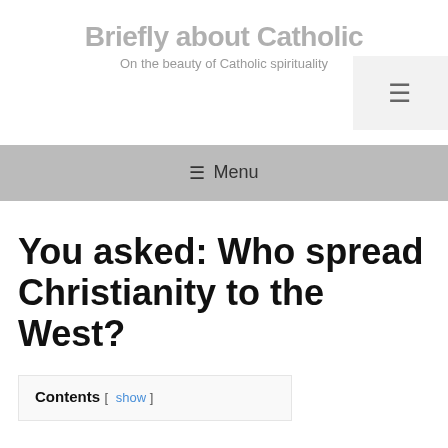Briefly about Catholic
On the beauty of Catholic spirituality
[Figure (other): Hamburger menu button icon in light gray box, top right]
≡ Menu
You asked: Who spread Christianity to the West?
Contents [ show ]